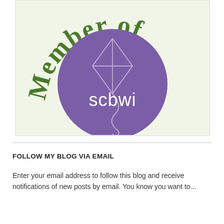[Figure (logo): SCBWI membership badge: green arched text 'Member of' above a purple circle containing a kite illustration and white text 'scbwi']
FOLLOW MY BLOG VIA EMAIL
Enter your email address to follow this blog and receive notifications of new posts by email. You know you want to...